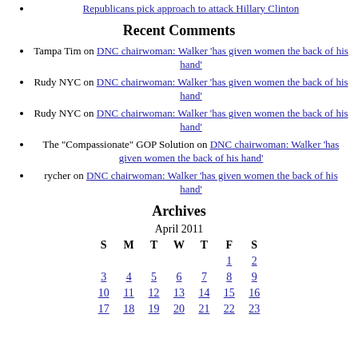Republicans pick approach to attack Hillary Clinton
Recent Comments
Tampa Tim on DNC chairwoman: Walker 'has given women the back of his hand'
Rudy NYC on DNC chairwoman: Walker 'has given women the back of his hand'
Rudy NYC on DNC chairwoman: Walker 'has given women the back of his hand'
The "Compassionate" GOP Solution on DNC chairwoman: Walker 'has given women the back of his hand'
rycher on DNC chairwoman: Walker 'has given women the back of his hand'
Archives
| S | M | T | W | T | F | S |
| --- | --- | --- | --- | --- | --- | --- |
|  |  |  |  |  | 1 | 2 |
| 3 | 4 | 5 | 6 | 7 | 8 | 9 |
| 10 | 11 | 12 | 13 | 14 | 15 | 16 |
| 17 | 18 | 19 | 20 | 21 | 22 | 23 |